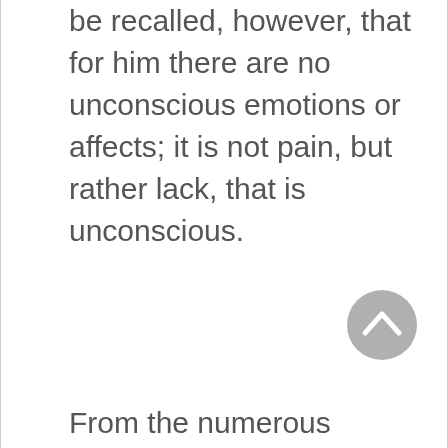be recalled, however, that for him there are no unconscious emotions or affects; it is not pain, but rather lack, that is unconscious.
[Figure (other): A circular grey button with an upward-pointing chevron/caret arrow icon, used as a scroll-to-top button.]
From the numerous